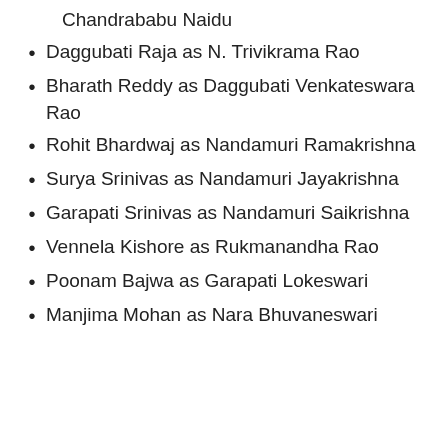Chandrababu Naidu
Daggubati Raja as N. Trivikrama Rao
Bharath Reddy as Daggubati Venkateswara Rao
Rohit Bhardwaj as Nandamuri Ramakrishna
Surya Srinivas as Nandamuri Jayakrishna
Garapati Srinivas as Nandamuri Saikrishna
Vennela Kishore as Rukmanandha Rao
Poonam Bajwa as Garapati Lokeswari
Manjima Mohan as Nara Bhuvaneswari